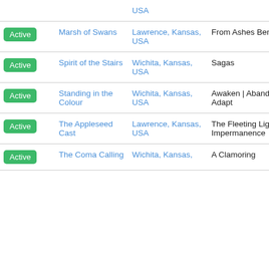| Status | Band | Location | Album |
| --- | --- | --- | --- |
| Active | Marsh of Swans | Lawrence, Kansas, USA | From Ashes Beneath |
| Active | Spirit of the Stairs | Wichita, Kansas, USA | Sagas |
| Active | Standing in the Colour | Wichita, Kansas, USA | Awaken | Abandon | Adapt |
| Active | The Appleseed Cast | Lawrence, Kansas, USA | The Fleeting Light of Impermanence |
| Active | The Coma Calling | Wichita, Kansas, USA | A Clamoring |